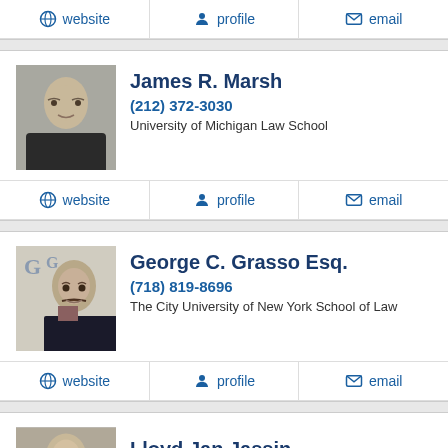website | profile | email (top action bar)
[Figure (photo): Headshot of James R. Marsh, a man in glasses wearing a suit]
James R. Marsh
(212) 372-3030
University of Michigan Law School
website | profile | email
[Figure (photo): Headshot of George C. Grasso Esq., a man with dark beard wearing a suit, logo GG in background]
George C. Grasso Esq.
(718) 819-8696
The City University of New York School of Law
website | profile | email
[Figure (photo): Headshot of Lloyd Jan Jassin, partial view]
Lloyd Jan Jassin